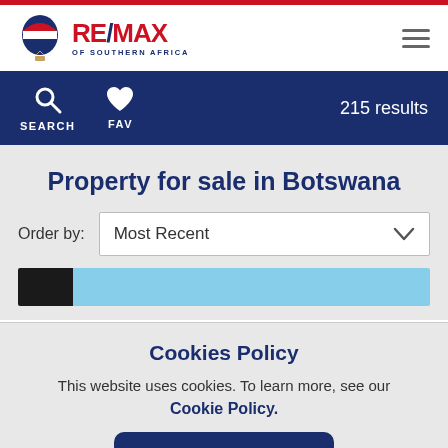RE/MAX OF SOUTHERN AFRICA
SEARCH  FAV  215 results
Property for sale in Botswana
Order by: Most Recent
[Figure (screenshot): Partial listing image preview with dark and blue sky area]
Cookies Policy
This website uses cookies. To learn more, see our Cookie Policy.
Accept